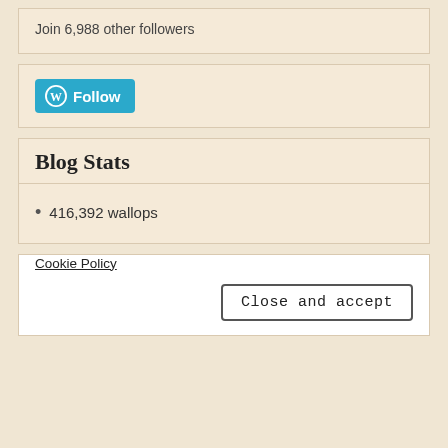Join 6,988 other followers
[Figure (other): WordPress Follow button with WordPress logo icon]
Blog Stats
416,392 wallops
[Figure (photo): Partial image of a decorative/food item at bottom of page]
Privacy & Cookies: This site uses cookies. By continuing to use this website, you agree to their use.
To find out more, including how to control cookies, see here: Cookie Policy
Close and accept